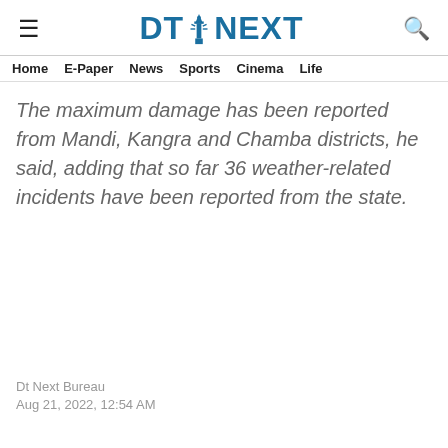DT NEXT
Home  E-Paper  News  Sports  Cinema  Life
The maximum damage has been reported from Mandi, Kangra and Chamba districts, he said, adding that so far 36 weather-related incidents have been reported from the state.
Dt Next Bureau
Aug 21, 2022, 12:54 AM